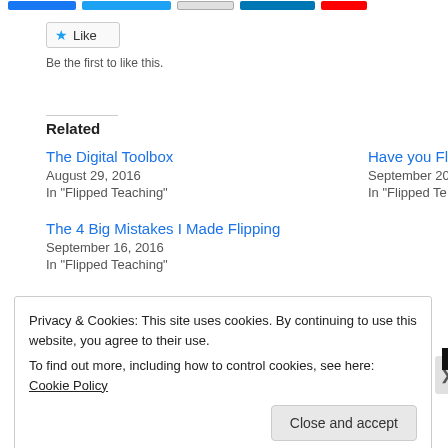[Figure (screenshot): Social share buttons row at top: blue Facebook button, blue Twitter button, outlined button, blue LinkedIn button, red button]
★ Like
Be the first to like this.
Related
The Digital Toolbox
August 29, 2016
In "Flipped Teaching"
Have you Flip
September 20
In "Flipped Te
The 4 Big Mistakes I Made Flipping
September 16, 2016
In "Flipped Teaching"
Privacy & Cookies: This site uses cookies. By continuing to use this website, you agree to their use.
To find out more, including how to control cookies, see here: Cookie Policy
Close and accept